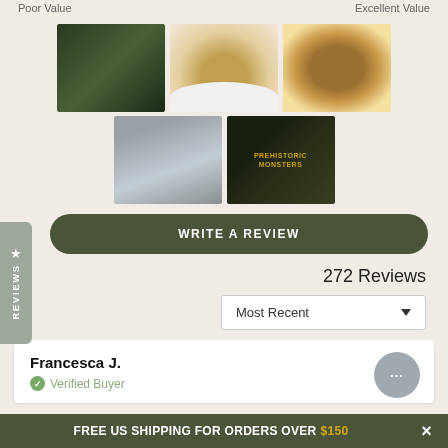Poor Value
Excellent Value
[Figure (photo): Grid of 5 product/food photos: dark baked goods in pan, cookie in bowl, cookie on hand, gray pan, product package]
WRITE A REVIEW
272 Reviews
Most Recent
Francesca J.
Verified Buyer
FREE US SHIPPING FOR ORDERS OVER $150